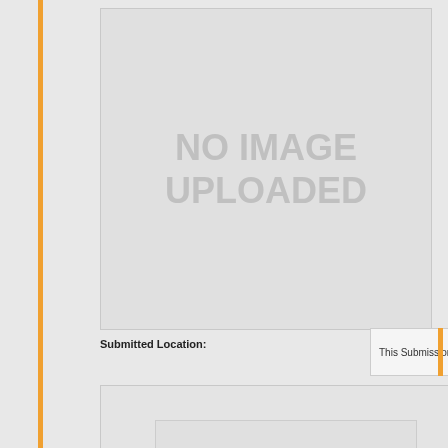[Figure (other): Placeholder image area showing 'NO IMAGE UPLOADED' text in gray on light gray background with border]
Submitted Location:
[Figure (other): Legend box showing 'This Submission:' with red pin icon and 'Other' label, with orange vertical bar accent]
[Figure (map): Map placeholder area showing 'NO LOCATION' text in gray, with a nested lighter gray box inside]